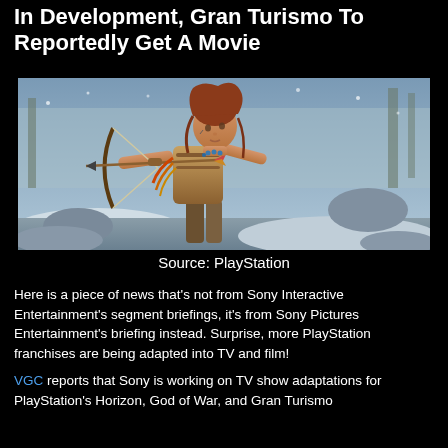In Development, Gran Turismo To Reportedly Get A Movie
[Figure (photo): A female video game character (Aloy from Horizon) aiming a bow and arrow, wearing tribal-style armor, with a snowy forest background. Source: PlayStation]
Source: PlayStation
Here is a piece of news that's not from Sony Interactive Entertainment's segment briefings, it's from Sony Pictures Entertainment's briefing instead. Surprise, more PlayStation franchises are being adapted into TV and film!
VGC reports that Sony is working on TV show adaptations for PlayStation's Horizon, God of War, and Gran Turismo